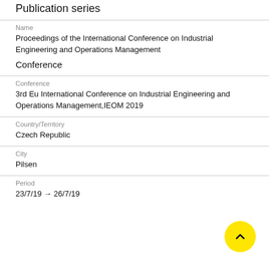Publication series
Name
Proceedings of the International Conference on Industrial Engineering and Operations Management
Conference
Conference
3rd Eu International Conference on Industrial Engineering and Operations Management,IEOM 2019
Country/Territory
Czech Republic
City
Pilsen
Period
23/7/19 → 26/7/19